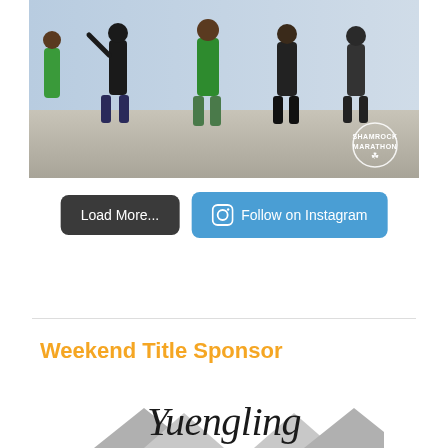[Figure (photo): Group of runners/walkers at Shamrock Marathon event, seen from behind, wearing green shirts and festive attire. A circular Shamrock Marathon logo badge appears in the bottom right corner of the photo.]
Load More...
Follow on Instagram
Weekend Title Sponsor
[Figure (logo): Yuengling logo in cursive script with mountain graphics below]